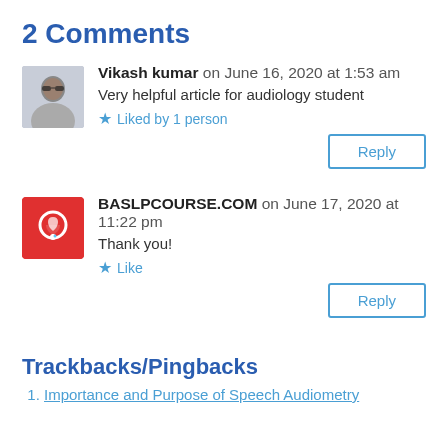2 Comments
Vikash kumar on June 16, 2020 at 1:53 am
Very helpful article for audiology student
Liked by 1 person
Reply
BASLPCOURSE.COM on June 17, 2020 at 11:22 pm
Thank you!
Like
Reply
Trackbacks/Pingbacks
Importance and Purpose of Speech Audiometry